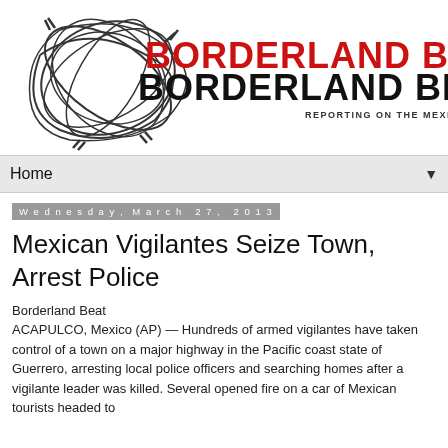[Figure (logo): Borderland Beat logo — stylized barbed wire illustration with red and black text reading 'BORDERLAND BEAT' and tagline 'REPORTING ON THE MEXICAN CARTEL DRUG WAR']
Home ▼
Wednesday, March 27, 2013
Mexican Vigilantes Seize Town, Arrest Police
Borderland Beat
ACAPULCO, Mexico (AP) — Hundreds of armed vigilantes have taken control of a town on a major highway in the Pacific coast state of Guerrero, arresting local police officers and searching homes after a vigilante leader was killed. Several opened fire on a car of Mexican tourists headed to